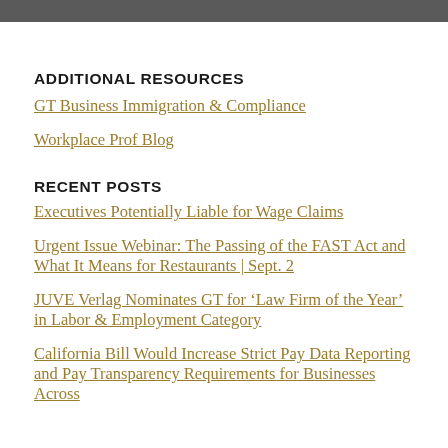ADDITIONAL RESOURCES
GT Business Immigration & Compliance
Workplace Prof Blog
RECENT POSTS
Executives Potentially Liable for Wage Claims
Urgent Issue Webinar: The Passing of the FAST Act and What It Means for Restaurants | Sept. 2
JUVE Verlag Nominates GT for ‘Law Firm of the Year’ in Labor & Employment Category
California Bill Would Increase Strict Pay Data Reporting and Pay Transparency Requirements for Businesses Across